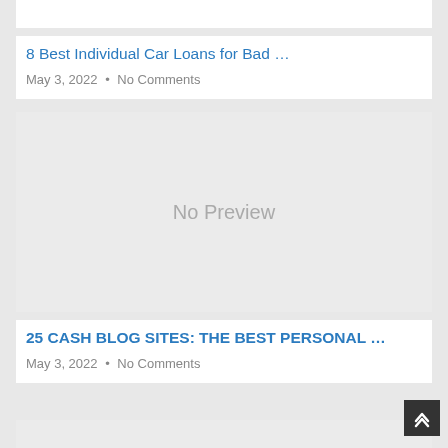[Figure (photo): Top partial image strip (cropped, white background)]
8 Best Individual Car Loans for Bad …
May 3, 2022 • No Comments
[Figure (photo): No Preview placeholder image box with grey background]
25 CASH BLOG SITES: THE BEST PERSONAL …
May 3, 2022 • No Comments
[Figure (photo): Bottom partial image strip (cropped, light grey background)]